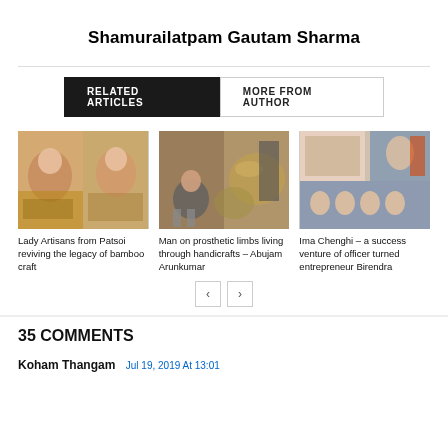Shamurailatpam Gautam Sharma
RELATED ARTICLES | MORE FROM AUTHOR
[Figure (photo): Collage of lady artisans with bamboo crafts from Patsoi]
Lady Artisans from Patsoi reviving the legacy of bamboo craft
[Figure (photo): Man on prosthetic limbs working with handicrafts – Abujam Arunkumar]
Man on prosthetic limbs living through handicrafts – Abujam Arunkumar
[Figure (photo): Ima Chenghi product and group photos]
Ima Chenghi – a success venture of officer turned entrepreneur Birendra
35 COMMENTS
Koham Thangam